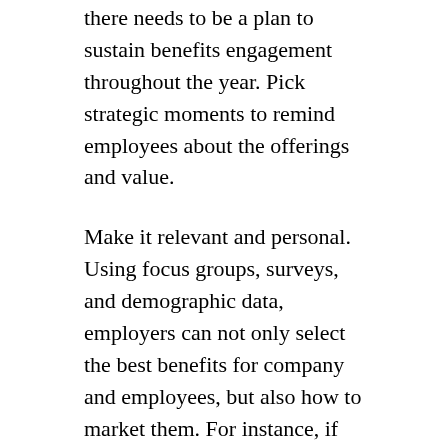there needs to be a plan to sustain benefits engagement throughout the year. Pick strategic moments to remind employees about the offerings and value.
Make it relevant and personal. Using focus groups, surveys, and demographic data, employers can not only select the best benefits for company and employees, but also how to market them. For instance, if there is a large amount of late-career employees approaching retirement, they may favour financial benefits and advice. Do remember that it’s about communicating with individuals with specific needs, so avoid generic or irrelevant messaging.